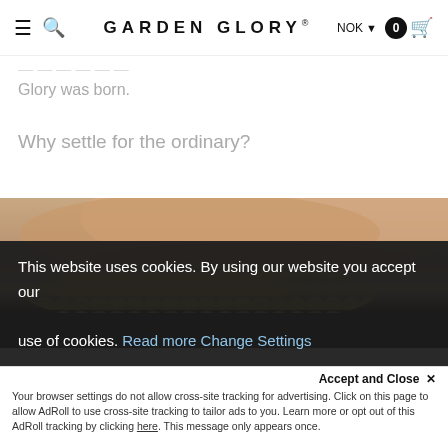≡ 🔍 GARDEN GLORY® NOK ▾ 0 🛒
Glory was born.
Why settle for the ordinary?
[Figure (photo): Close-up macro photo of a human eye/nose area with a golden snake-scale textured object in the foreground, on dark background]
This website uses cookies. By using our website you accept our use of cookies. Read more Change Settings
Accept and Close ✕
Your browser settings do not allow cross-site tracking for advertising. Click on this page to allow AdRoll to use cross-site tracking to tailor ads to you. Learn more or opt out of this AdRoll tracking by clicking here. This message only appears once.